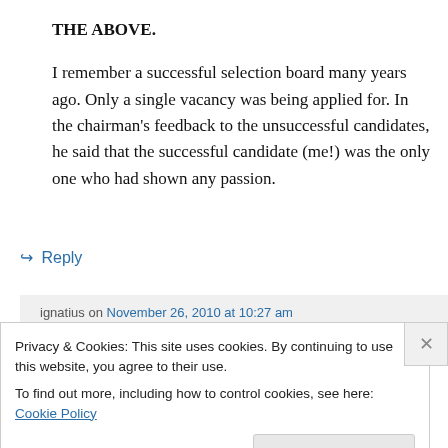THE ABOVE.
I remember a successful selection board many years ago. Only a single vacancy was being applied for. In the chairman's feedback to the unsuccessful candidates, he said that the successful candidate (me!) was the only one who had shown any passion.
↪ Reply
ignatius on November 26, 2010 at 10:27 am
Privacy & Cookies: This site uses cookies. By continuing to use this website, you agree to their use.
To find out more, including how to control cookies, see here: Cookie Policy
Close and accept